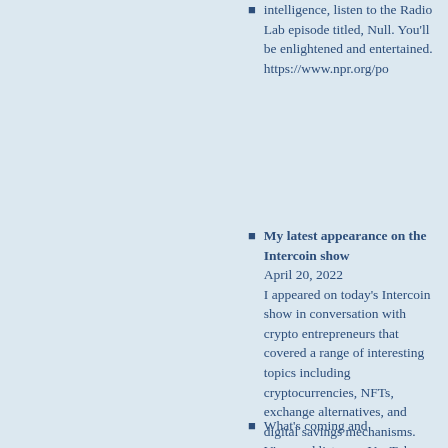intelligence, listen to the Radio Lab episode titled, Null. You'll be enlightened and entertained. https://www.npr.org/po
My latest appearance on the Intercoin show April 20, 2022 I appeared on today's Intercoin show in conversation with crypto entrepreneurs that covered a range of interesting topics including cryptocurrencies, NFTs, exchange alternatives, and digital savings mechanisms. View and listen on YouTube, https://youtu.be/6FXst
What's coming and